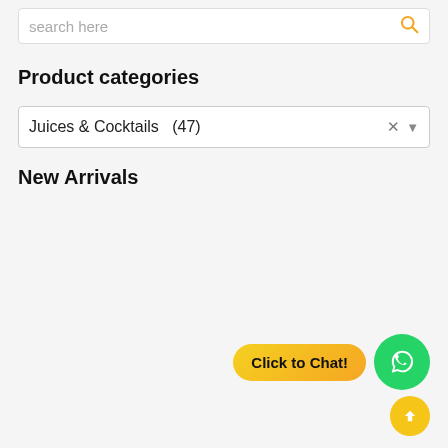search here
Product categories
Juices & Cocktails  (47)
New Arrivals
[Figure (screenshot): Click to Chat WhatsApp widget button with green WhatsApp circle icon]
[Figure (other): Yellow scroll-to-top round button with upward arrow]